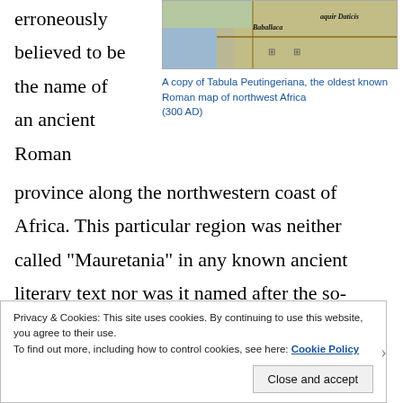erroneously believed to be the name of an ancient Roman province along the northwestern coast of Africa. This particular region was neither called “Mauretania” in any known ancient literary text nor was it named after the so-called “Mauri tribe,” as many modern historians believe. “Mauri” is merely the plural form of the Latin transliteration, “Maurus,” as mentioned above.
[Figure (map): A copy of Tabula Peutingeriana, the oldest known Roman map of northwest Africa (300 AD), showing place names including Baballaca and Aquir Daticis]
A copy of Tabula Peutingeriana, the oldest known Roman map of northwest Africa (300 AD)
Privacy & Cookies: This site uses cookies. By continuing to use this website, you agree to their use.
To find out more, including how to control cookies, see here: Cookie Policy